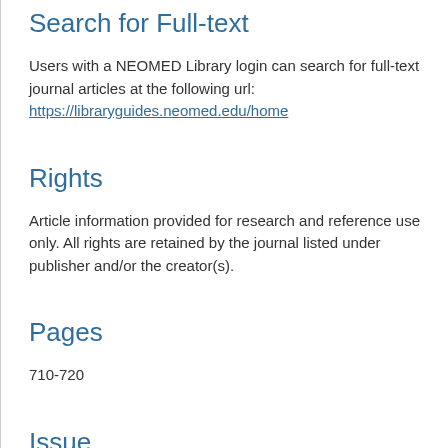Search for Full-text
Users with a NEOMED Library login can search for full-text journal articles at the following url: https://libraryguides.neomed.edu/home
Rights
Article information provided for research and reference use only. All rights are retained by the journal listed under publisher and/or the creator(s).
Pages
710-720
Issue
6
Volume